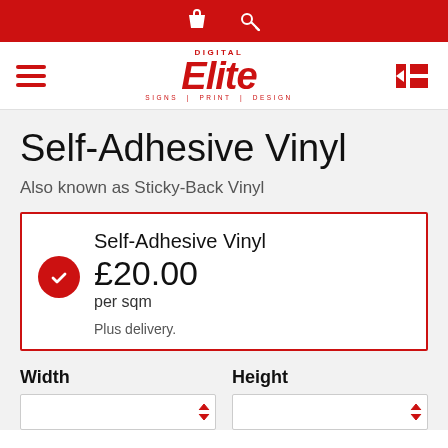Elite Digital Signs | Print | Design
Self-Adhesive Vinyl
Also known as Sticky-Back Vinyl
Self-Adhesive Vinyl
£20.00
per sqm
Plus delivery.
Width
Height